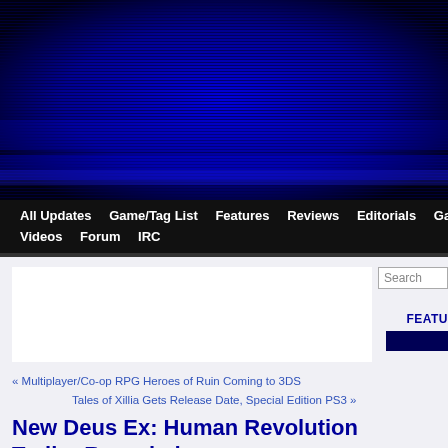[Figure (illustration): Dark blue banner header with horizontal scan-line stripe pattern, navy and black gradients creating a CRT/scanline visual effect.]
All Updates  Game/Tag List  Features  Reviews  Editorials  Game News  Ga…  Videos  Forum  IRC
« Multiplayer/Co-op RPG Heroes of Ruin Coming to 3DS
Tales of Xillia Gets Release Date, Special Edition PS3 »
New Deus Ex: Human Revolution Trailer Revealed